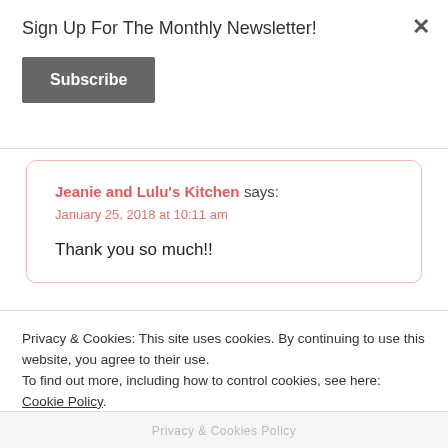Sign Up For The Monthly Newsletter!
Subscribe
Jeanie and Lulu's Kitchen says:
January 25, 2018 at 10:11 am
Thank you so much!!
Privacy & Cookies: This site uses cookies. By continuing to use this website, you agree to their use.
To find out more, including how to control cookies, see here: Cookie Policy
Close and accept
Privacy & Cookies Policy